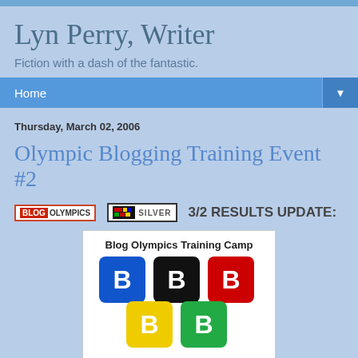Lyn Perry, Writer
Fiction with a dash of the fantastic.
Home ▼
Thursday, March 02, 2006
Olympic Blogging Training Event #2
[Figure (logo): Blog Olympics badge and Silver badge with text '3/2 RESULTS UPDATE:']
[Figure (illustration): Blog Olympics Training Camp image with colorful blogger icons in blue, black, red, yellow, and green squares arranged in Olympic rings formation]